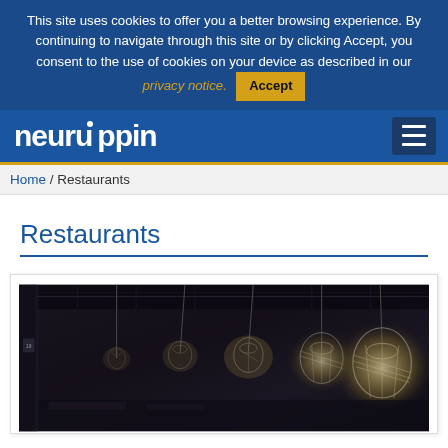This site uses cookies to offer you a better browsing experience. By continuing to navigate through this site or by clicking Accept, you consent to the use of cookies on your device as described in our privacy notice.  Accept
[Figure (logo): Neuruppin website logo in white bold text on blue background with hamburger menu icon]
Home / Restaurants
Restaurants
[Figure (photo): Interior of a restaurant with dark ceiling, hanging pendant cage lights, and moody atmospheric lighting]